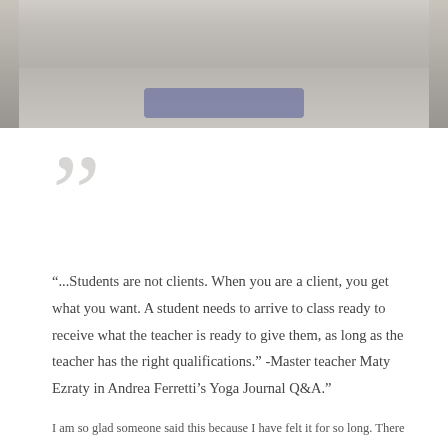[Figure (photo): Top portion of a photo showing a yoga mat on a wooden floor, with a purple yoga mat visible]
“...Students are not clients. When you are a client, you get what you want. A student needs to arrive to class ready to receive what the teacher is ready to give them, as long as the teacher has the right qualifications.” -Master teacher Maty Ezraty in Andrea Ferretti’s Yoga Journal Q&A.”
I am so glad someone said this because I have felt it for so long. There